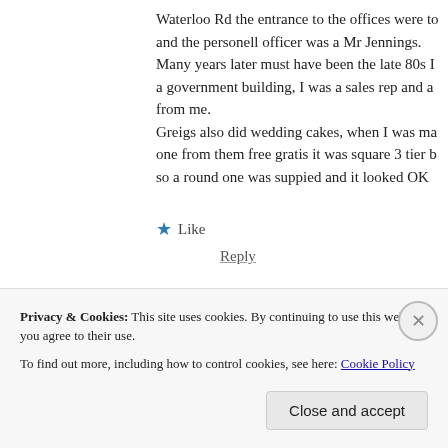Waterloo Rd the entrance to the offices were to and the personell officer was a Mr Jennings. Many years later must have been the late 80s I a government building, I was a sales rep and a from me. Greigs also did wedding cakes, when I was ma one from them free gratis it was square 3 tier b so a round one was suppied and it looked OK
★ Like
Reply
George Taylor says:
Privacy & Cookies: This site uses cookies. By continuing to use this website, you agree to their use.
To find out more, including how to control cookies, see here: Cookie Policy
Close and accept